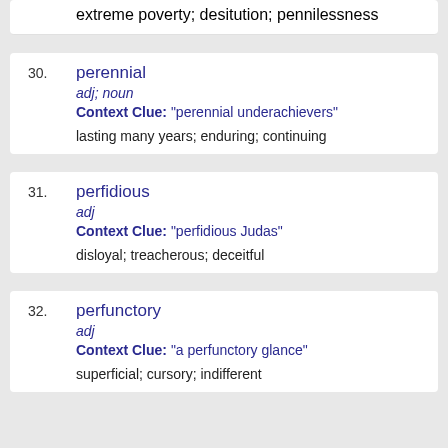extreme poverty; desitution; pennilessness
30. perennial
adj; noun
Context Clue: "perennial underachievers"
lasting many years; enduring; continuing
31. perfidious
adj
Context Clue: "perfidious Judas"
disloyal; treacherous; deceitful
32. perfunctory
adj
Context Clue: "a perfunctory glance"
superficial; cursory; indifferent